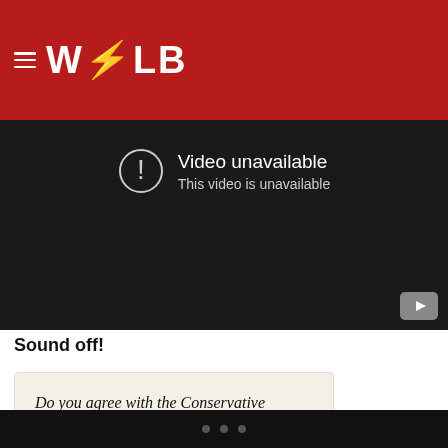W⚡LB
[Figure (screenshot): YouTube embedded video player showing 'Video unavailable – This video is unavailable' message on a dark background with a YouTube play button icon in the bottom right corner.]
Sound off!
Do you agree with the Conservative writers that Beyonce's performance was too much?
Yes, I do actually.